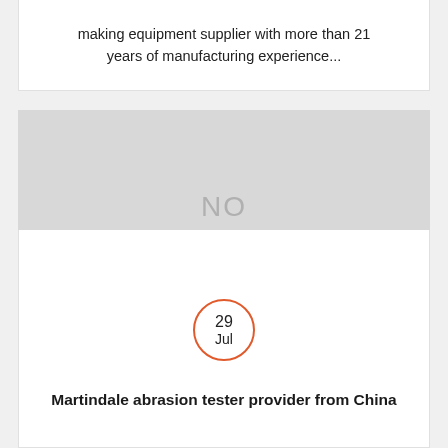making equipment supplier with more than 21 years of manufacturing experience...
[Figure (other): Placeholder image box with 'NO IMAGE' text in light gray]
29 Jul
Martindale abrasion tester provider from China